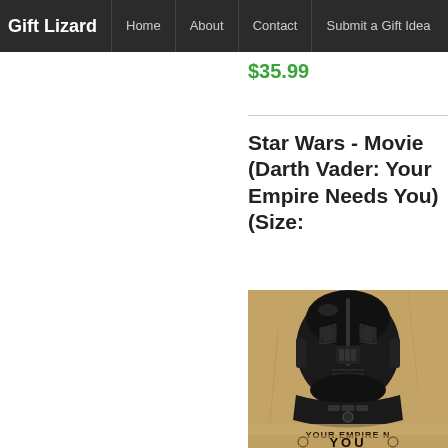Gift Lizard  Home  About  Contact  Submit a Gift Idea
$35.99
Star Wars - Movie (Darth Vader: Your Empire Needs You) (Size:
[Figure (photo): Vintage-style sepia-toned Star Wars recruitment poster featuring Darth Vader helmet, with text 'YOUR EMPIRE N...' and 'YOU' visible at the bottom.]